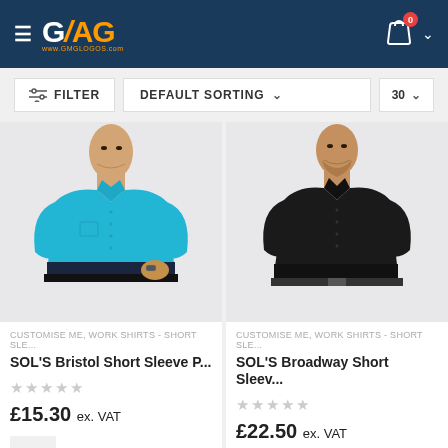GMAG logo header with cart icon
FILTER | DEFAULT SORTING | 30
[Figure (photo): Man wearing cyan/turquoise short sleeve shirt]
CUSTOMISE ME, WORK SHIRTS - SHORT SLE...
SOL'S Bristol Short Sleeve P...
£15.30 ex. VAT
[Figure (photo): Man wearing black short sleeve shirt]
CUSTOMISE ME, WORK SHIRTS - SHORT SLE...
SOL'S Broadway Short Sleev...
£22.50 ex. VAT